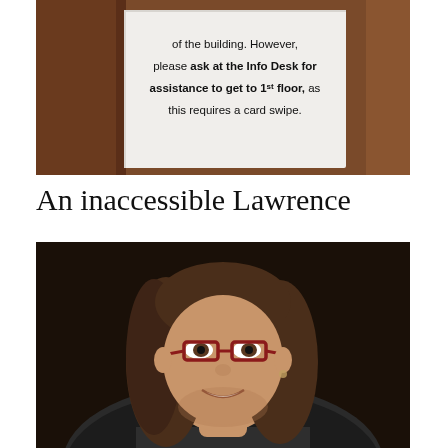[Figure (photo): Photo of a sign inside an elevator or building interior with wooden/brown paneling. The sign reads: 'of the building. However, please ask at the Info Desk for assistance to get to 1st floor, as this requires a card swipe.']
An inaccessible Lawrence
[Figure (photo): Portrait photo of a smiling woman with long brown hair wearing red/maroon rectangular glasses and a patterned black and white top, photographed against a dark background.]